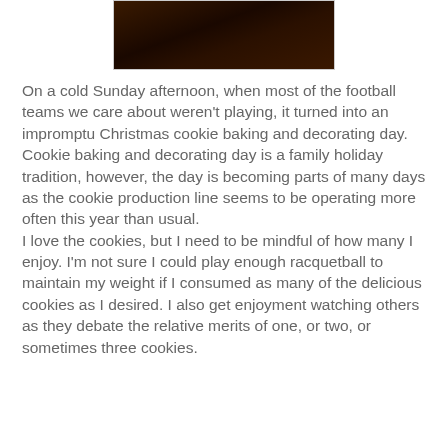[Figure (photo): A dark indoor photograph showing people in a dimly lit room with warm reddish ambient light.]
On a cold Sunday afternoon, when most of the football teams we care about weren't playing, it turned into an impromptu Christmas cookie baking and decorating day.
Cookie baking and decorating day is a family holiday tradition, however, the day is becoming parts of many days as the cookie production line seems to be operating more often this year than usual.
I love the cookies, but I need to be mindful of how many I enjoy. I'm not sure I could play enough racquetball to maintain my weight if I consumed as many of the delicious cookies as I desired. I also get enjoyment watching others as they debate the relative merits of one, or two, or sometimes three cookies.